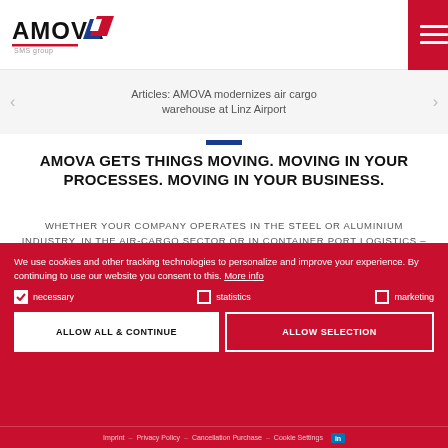AMOVA SMS group
Articles: AMOVA modernizes air cargo warehouse at Linz Airport
AMOVA GETS THINGS MOVING. MOVING IN YOUR PROCESSES. MOVING IN YOUR BUSINESS.
WHETHER YOUR COMPANY OPERATES IN THE STEEL OR ALUMINIUM INDUSTRY, IN THE AIR-CARGO SECTOR OR IN CONTAINER PORT LOGISTICS – AMOVA IS THE EXPERIENCED AND RELIABLE PARTNER FOR INNOVATIVE INTRALOGISTICS SOLUTIONS. AND THIS FOR MORE THAN 60 YEARS NOW.
We use cookies and other tracking technologies to personalize and improve your experience. By continuing to use our website you consent to this. More info
necessary  statistics  marketing
ALLOW ALL & CONTINUE  ALLOW SELECTION
Imprint – Privacy Policy – Cancellation Purchase – Cookie Settings